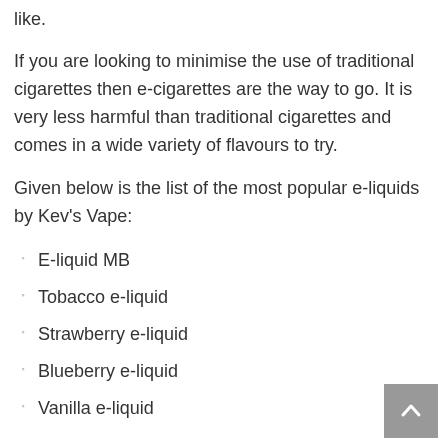like.
If you are looking to minimise the use of traditional cigarettes then e-cigarettes are the way to go. It is very less harmful than traditional cigarettes and comes in a wide variety of flavours to try.
Given below is the list of the most popular e-liquids by Kev's Vape:
E-liquid MB
Tobacco e-liquid
Strawberry e-liquid
Blueberry e-liquid
Vanilla e-liquid